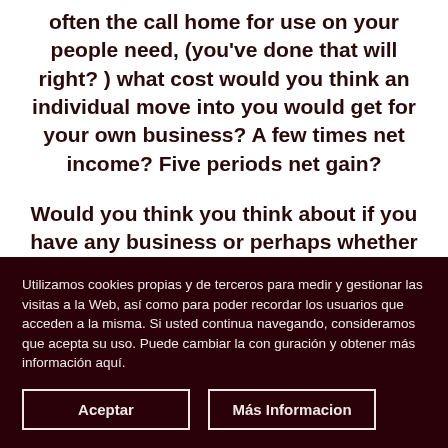often the call home for use on your people need, (you've done that will right? ) what cost would you think an individual move into you would get for your own business? A few times net income? Five periods net gain?
Would you think you think about if you have any business or perhaps whether you actually ARE the company?
Utilizamos cookies propias y de terceros para medir y gestionar las visitas a la Web, así como para poder recordar los usuarios que acceden a la misma. Si usted continua navegando, consideramos que acepta su uso. Puede cambiar la con guración y obtener más información aquí.
Aceptar
Más Informacion